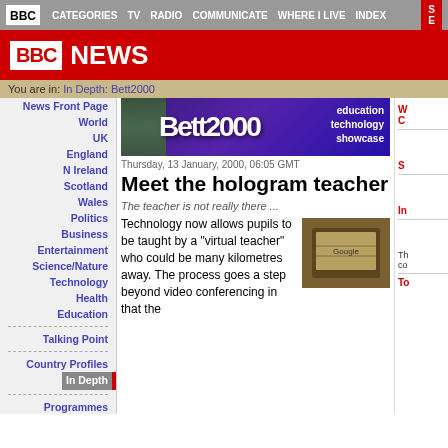BBC CATEGORIES TV RADIO COMMUNICATE WHERE I LIVE INDEX
[Figure (logo): BBC News red header banner with BBC logo and NEWS text in white]
You are in: In Depth: Bett2000
[Figure (illustration): Bett2000 education technology showcase purple banner]
Thursday, 13 January, 2000, 06:05 GMT
Meet the hologram teacher
The teacher is not really there ...
Technology now allows pupils to be taught by a "virtual teacher" who could be many kilometres away. The process goes a step beyond video conferencing in that the
News Front Page
World
UK
England
N Ireland
Scotland
Wales
Politics
Business
Entertainment
Science/Nature
Technology
Health
Education
Talking Point
Country Profiles
In Depth
Programmes